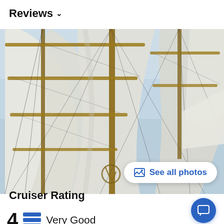Reviews ∨
[Figure (photo): Close-up of tall sailing ship masts and sails against a light blue sky, showing rigging ropes and wooden boom arms]
See all photos
Cruiser Rating
4  Very Good